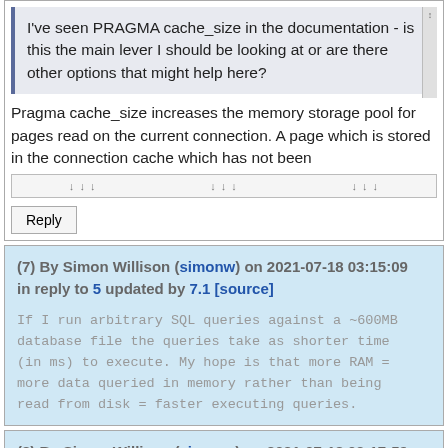I've seen PRAGMA cache_size in the documentation - is this the main lever I should be looking at or are there other options that might help here?
Pragma cache_size increases the memory storage pool for pages read on the current connection. A page which is stored in the connection cache which has not been
Reply
(7) By Simon Willison (simonw) on 2021-07-18 03:15:09 in reply to 5 updated by 7.1 [source]
If I run arbitrary SQL queries against a ~600MB database file the queries take as shorter time (in ms) to execute. My hope is that more RAM = more data queried in memory rather than being read from disk = faster executing queries.
(8) By Simon Willison (simonw) on 2021-07-18 03:17:59